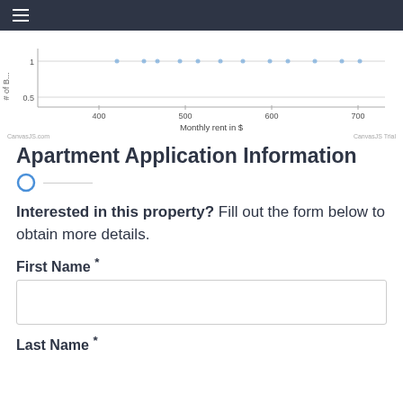≡
[Figure (continuous-plot): Partial scatter/line chart showing # of Bedrooms (y-axis, 0.5 to 1) vs Monthly rent in $ (x-axis, 400 to 700). CanvasJS.com watermark bottom left, CanvasJS Trial watermark bottom right.]
Apartment Application Information
Interested in this property? Fill out the form below to obtain more details.
First Name *
Last Name *